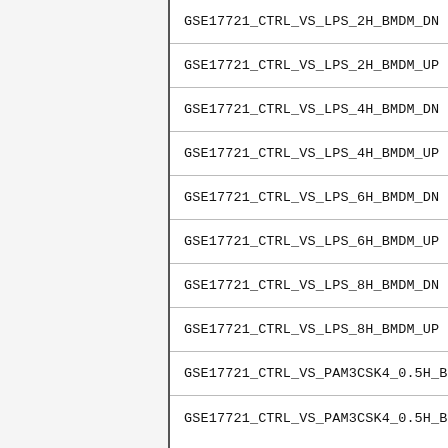GSE17721_CTRL_VS_LPS_2H_BMDM_DN
GSE17721_CTRL_VS_LPS_2H_BMDM_UP
GSE17721_CTRL_VS_LPS_4H_BMDM_DN
GSE17721_CTRL_VS_LPS_4H_BMDM_UP
GSE17721_CTRL_VS_LPS_6H_BMDM_DN
GSE17721_CTRL_VS_LPS_6H_BMDM_UP
GSE17721_CTRL_VS_LPS_8H_BMDM_DN
GSE17721_CTRL_VS_LPS_8H_BMDM_UP
GSE17721_CTRL_VS_PAM3CSK4_0.5H_BMDM_DN
GSE17721_CTRL_VS_PAM3CSK4_0.5H_BMDM_...